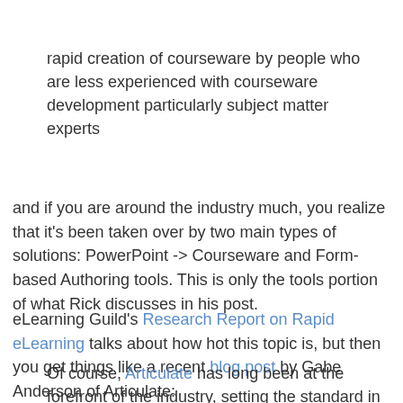rapid creation of courseware by people who are less experienced with courseware development particularly subject matter experts
and if you are around the industry much, you realize that it's been taken over by two main types of solutions: PowerPoint -> Courseware and Form-based Authoring tools. This is only the tools portion of what Rick discusses in his post.
eLearning Guild's Research Report on Rapid eLearning talks about how hot this topic is, but then you get things like a recent blog post by Gabe Anderson of Articulate:
Of course, Articulate has long been at the forefront of the industry, setting the standard in PowerPoint to Flash conversion ... rapid